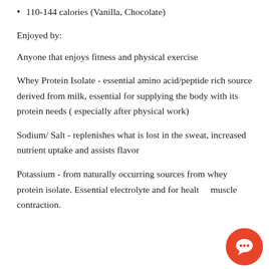110-144 calories (Vanilla, Chocolate)
Enjoyed by:
Anyone that enjoys fitness and physical exercise
Whey Protein Isolate - essential amino acid/peptide rich source derived from milk, essential for supplying the body with its protein needs ( especially after physical work)
Sodium/ Salt - replenishes what is lost in the sweat, increased nutrient uptake and assists flavor
Potassium - from naturally occurring sources from whey protein isolate. Essential electrolyte and for healthy muscle contraction.